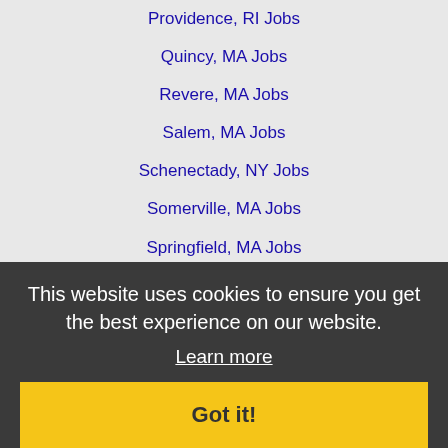Providence, RI Jobs
Quincy, MA Jobs
Revere, MA Jobs
Salem, MA Jobs
Schenectady, NY Jobs
Somerville, MA Jobs
Springfield, MA Jobs
Stamford, CT Jobs
Stratford, CT Jobs
Taunton, MA Jobs
Troy, NY Jobs
Waltham, MA Jobs
Warwick, RI Jobs
Waterbury, CT Jobs
West Hartford, CT Jobs
West Haven, CT Jobs
Westfield, MA Jobs
Westport, CT Jobs
This website uses cookies to ensure you get the best experience on our website. Learn more Got it!